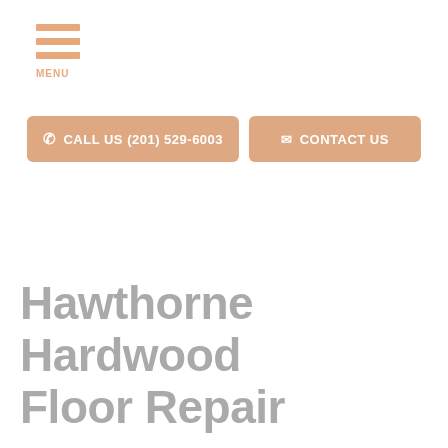[Figure (logo): Hamburger menu icon with three horizontal orange/tan bars and 'MENU' label below]
CALL US (201) 529-6003
CONTACT US
Hawthorne Hardwood Floor Repair